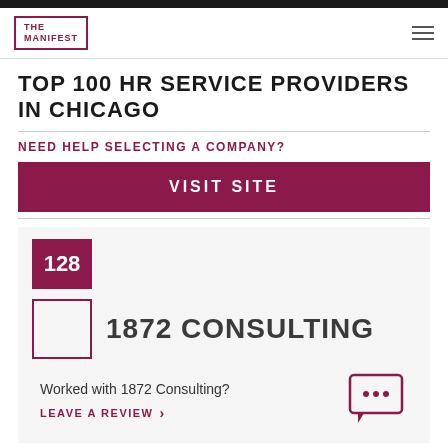THE MANIFEST
TOP 100 HR SERVICE PROVIDERS IN CHICAGO
NEED HELP SELECTING A COMPANY?
VISIT SITE
128
1872 CONSULTING
Worked with 1872 Consulting?
LEAVE A REVIEW